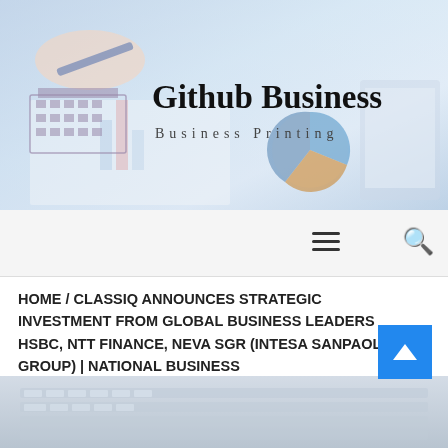[Figure (photo): Banner with a person's hand holding a pen over financial charts and graphs, with bar charts and a pie chart visible, and a laptop screen in the background. The Github Business logo appears in the center.]
Github Business
Business Printing
Navigation bar with hamburger menu and search icon
HOME / CLASSIQ ANNOUNCES STRATEGIC INVESTMENT FROM GLOBAL BUSINESS LEADERS HSBC, NTT FINANCE, NEVA SGR (INTESA SANPAOLO GROUP) | NATIONAL BUSINESS
[Figure (photo): Partial view of a laptop keyboard, light gray tone, cut off at bottom of page.]